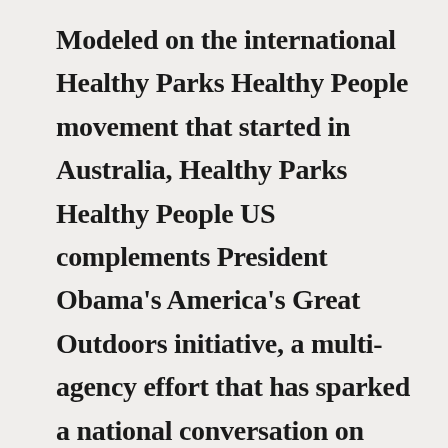Modeled on the international Healthy Parks Healthy People movement that started in Australia, Healthy Parks Healthy People US complements President Obama's America's Great Outdoors initiative, a multi-agency effort that has sparked a national conversation on how to conserve open spaces and reconnect Americans to nature. In addition to its Healthy Foods Strategy, the NPS has expanded First Lady Michelle Obama's Let's Move program to include Let's Move Outside